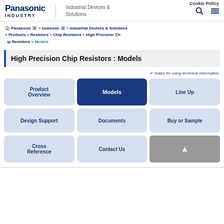Panasonic INDUSTRY | Industrial Devices & Solutions | Cookie Policy
🏠 Panasonic > business > Industrial Devices & Solutions > Products > Resistors > Chip Resistors > High Precision Chip Resistors > Models
High Precision Chip Resistors : Models
✔ Notes for using technical information
Product Overview
Models
Line Up
Design Support
Documents
Buy or Sample
Cross Reference
Contact Us